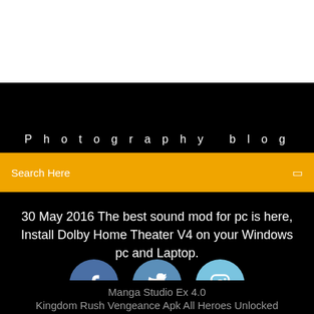Photography blog
Search Here
30 May 2016 The best sound mod for pc is here, Install Dolby Home Theater V4 on your Windows pc and Laptop.
[Figure (infographic): Three social media icons in circles: Facebook (dark blue), Twitter (medium blue), Instagram (light blue)]
Manga Studio Ex 4.0
Kingdom Rush Vengeance Apk All Heroes Unlocked